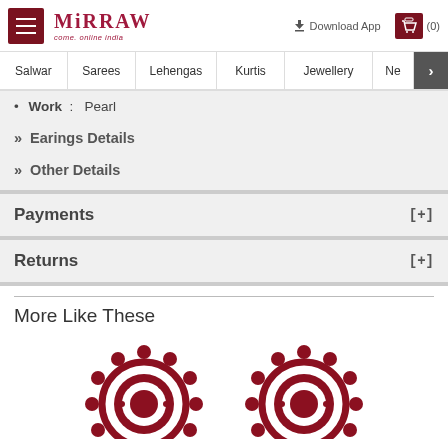Mirraw - Download App (0)
Salwar | Sarees | Lehengas | Kurtis | Jewellery | Ne >
• Work  :  Pearl
» Earings Details
» Other Details
Payments [+]
Returns [+]
More Like These
[Figure (illustration): Two decorative circular motifs in dark red/maroon color, partially visible at the bottom of the page, resembling Indian jewelry or mandala designs.]